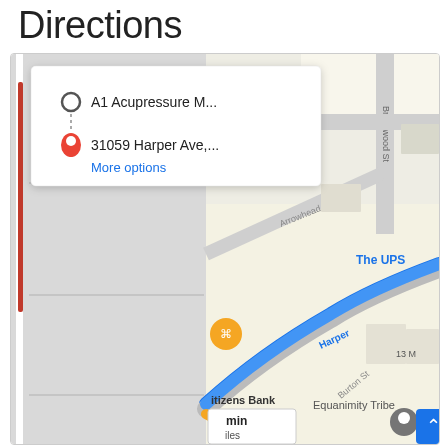Directions
[Figure (map): Google Maps screenshot showing directions from A1 Acupressure M... to 31059 Harper Ave,..., with a popup card showing origin and destination, a blue highlighted route along Harper Ave, streets including Arrowhead St, Brookwood St, Burton St, landmarks including The UPS Store, Citizens Bank, Equanimity Tribe, an orange food/restaurant pin, and a travel time/distance summary box showing minutes and miles.]